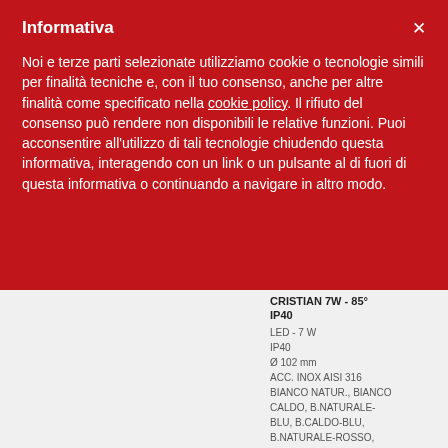Informativa
Noi e terze parti selezionate utilizziamo cookie o tecnologie simili per finalità tecniche e, con il tuo consenso, anche per altre finalità come specificato nella cookie policy. Il rifiuto del consenso può rendere non disponibili le relative funzioni. Puoi acconsentire all'utilizzo di tali tecnologie chiudendo questa informativa, interagendo con un link o un pulsante al di fuori di questa informativa o continuando a navigare in altro modo.
CRISTIAN 7W - 85° IP40
LED - 7 W
IP40
Ø 102 mm
ACC. INOX AISI 316
BIANCO NATUR., BIANCO CALDO, B.NATURALE-BLU, B.CALDO-BLU, B.NATURALE-ROSSO, B.CALDO-ROSSO, RGBW, BIANCO DINAMICO
THEKLA LUX 9W - 95° IP66
LED - 9 W
IP66
Ø 155 mm
ACC. INOX AISI 316
BIANCO NATUR., BIANCO